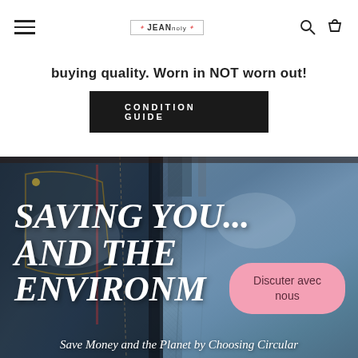Navigation bar with hamburger menu, logo (jeannoly), search icon, cart icon
buying quality. Worn in NOT worn out!
CONDITION GUIDE
[Figure (photo): Close-up photograph of multiple pairs of blue denim jeans overlapping, showing pockets, stitching, and faded denim fabric in various shades of blue and dark indigo]
SAVING YOU... AND THE ENVIRONM
Save Money and the Planet by Choosing Circular
Discuter avec nous